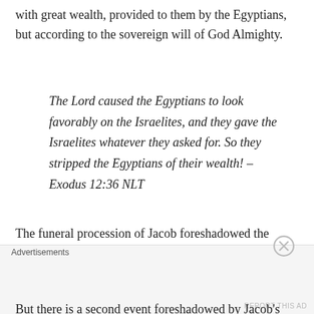with great wealth, provided to them by the Egyptians, but according to the sovereign will of God Almighty.
The Lord caused the Egyptians to look favorably on the Israelites, and they gave the Israelites whatever they asked for. So they stripped the Egyptians of their wealth! – Exodus 12:36 NLT
The funeral procession of Jacob foreshadowed the exodus of the people of Israel, an event that would take place more than four centuries later.
But there is a second event foreshadowed by Jacob's funeral that Moses' readers would not have recognized
Advertisements